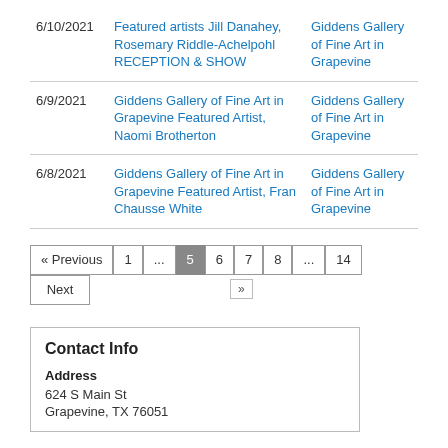| Date | Event | Venue |
| --- | --- | --- |
| 6/10/2021 | Featured artists Jill Danahey, Rosemary Riddle-Achelpohl RECEPTION & SHOW | Giddens Gallery of Fine Art in Grapevine |
| 6/9/2021 | Giddens Gallery of Fine Art in Grapevine Featured Artist, Naomi Brotherton | Giddens Gallery of Fine Art in Grapevine |
| 6/8/2021 | Giddens Gallery of Fine Art in Grapevine Featured Artist, Fran Chausse White | Giddens Gallery of Fine Art in Grapevine |
« Previous  1  ...  5  6  7  8  ...  14  Next
Contact Info
Address
624 S Main St
Grapevine, TX 76051